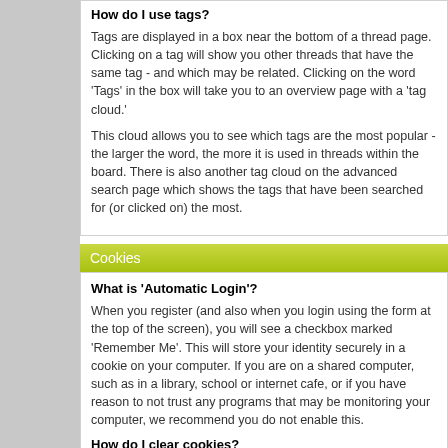How do I use tags?
Tags are displayed in a box near the bottom of a thread page. Clicking on a tag will show you other threads that have the same tag - and which may be related. Clicking on the word 'Tags' in the box will take you to an overview page with a 'tag cloud.'
This cloud allows you to see which tags are the most popular - the larger the word, the more it is used in threads within the board. There is also another tag cloud on the advanced search page which shows the tags that have been searched for (or clicked on) the most.
Cookies
What is 'Automatic Login'?
When you register (and also when you login using the form at the top of the screen), you will see a checkbox marked 'Remember Me'. This will store your identity securely in a cookie on your computer. If you are on a shared computer, such as in a library, school or internet cafe, or if you have reason to not trust any programs that may be monitoring your computer, we recommend you do not enable this.
How do I clear cookies?
You can clear all your cookies set by the forum by clicking the 'logout' link at the top of any forum page. If you return to the main index page via the link provided and you are still logged in, you will need to clear your cookies manually.
In Internet Explorer 6 on Windows XP: Click the 'Tools' menu. Select 'Internet Options' from the menu. Click 'Delete Cookies' on the dialog box that appears. It will be in the center area of the 'General' tab.
In Internet Explorer 7: Click the 'Tools' menu. Select 'Internet Options' from the